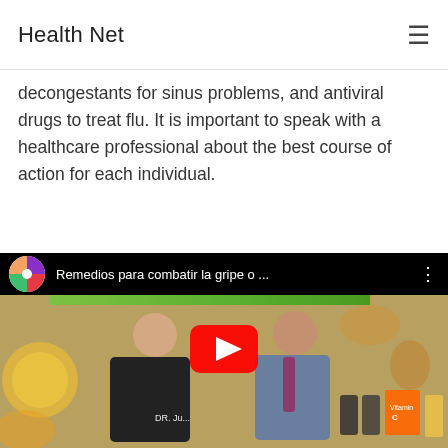Health Net
decongestants for sinus problems, and antiviral drugs to treat flu. It is important to speak with a healthcare professional about the best course of action for each individual.
[Figure (screenshot): Embedded YouTube video thumbnail showing two men — one in black medical scrubs labeled 'DR. Ju...' and another in a gray suit — with a YouTube play button overlay. The video title reads 'Remedios para combatir la gripe o ...' with the Univision logo visible in the top-left corner.]